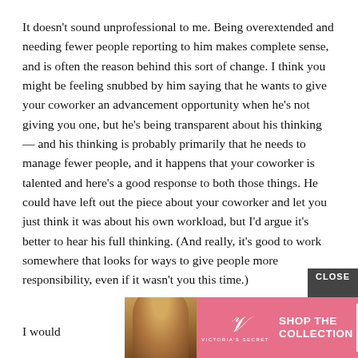It doesn't sound unprofessional to me. Being overextended and needing fewer people reporting to him makes complete sense, and is often the reason behind this sort of change. I think you might be feeling snubbed by him saying that he wants to give your coworker an advancement opportunity when he's not giving you one, but he's being transparent about his thinking — and his thinking is probably primarily that he needs to manage fewer people, and it happens that your coworker is talented and here's a good response to both those things. He could have left out the piece about your coworker and let you just think it was about his own workload, but I'd argue it's better to hear his full thinking. (And really, it's good to work somewhere that looks for ways to give people more responsibility, even if it wasn't you this time.)
[Figure (infographic): Victoria's Secret advertisement banner with model photo, VS logo, 'SHOP THE COLLECTION' text, and 'SHOP NOW' button. A 'CLOSE' button appears above the ad.]
I would